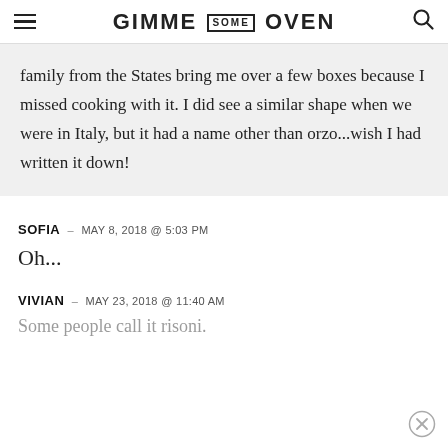GIMME SOME OVEN
family from the States bring me over a few boxes because I missed cooking with it. I did see a similar shape when we were in Italy, but it had a name other than orzo...wish I had written it down!
SOFIA — MAY 8, 2018 @ 5:03 PM
Oh...
VIVIAN — MAY 23, 2018 @ 11:40 AM
Some people call it risoni.